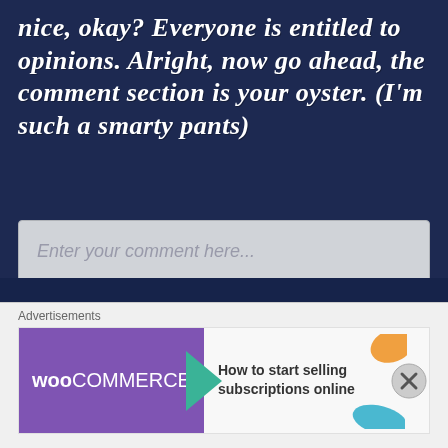nice, okay? Everyone is entitled to opinions. Alright, now go ahead, the comment section is your oyster. (I'm such a smarty pants)
Enter your comment here...
RECENT POSTS
Advertisements
[Figure (screenshot): WooCommerce advertisement banner: purple WooCommerce logo with arrow, text 'How to start selling subscriptions online', orange and blue decorative shapes]